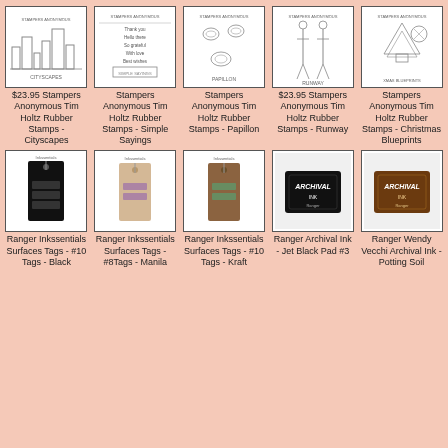[Figure (photo): Stampers Anonymous Tim Holtz Rubber Stamps - Cityscapes product image]
$23.95 Stampers Anonymous Tim Holtz Rubber Stamps - Cityscapes
[Figure (photo): Stampers Anonymous Tim Holtz Rubber Stamps - Simple Sayings product image]
Stampers Anonymous Tim Holtz Rubber Stamps - Simple Sayings
[Figure (photo): Stampers Anonymous Tim Holtz Rubber Stamps - Papillon product image]
Stampers Anonymous Tim Holtz Rubber Stamps - Papillon
[Figure (photo): Stampers Anonymous Tim Holtz Rubber Stamps - Runway product image]
$23.95 Stampers Anonymous Tim Holtz Rubber Stamps - Runway
[Figure (photo): Stampers Anonymous Tim Holtz Rubber Stamps - Christmas Blueprints product image]
Stampers Anonymous Tim Holtz Rubber Stamps - Christmas Blueprints
[Figure (photo): Ranger Inkssentials Surfaces Tags - #10 Tags - Black product image]
Ranger Inkssentials Surfaces Tags - #10 Tags - Black
[Figure (photo): Ranger Inkssentials Surfaces Tags - #8Tags - Manila product image]
Ranger Inkssentials Surfaces Tags - #8Tags - Manila
[Figure (photo): Ranger Inkssentials Surfaces Tags - #10 Tags - Kraft product image]
Ranger Inkssentials Surfaces Tags - #10 Tags - Kraft
[Figure (photo): Ranger Archival Ink - Jet Black Pad #3 product image]
Ranger Archival Ink - Jet Black Pad #3
[Figure (photo): Ranger Wendy Vecchi Archival Ink - Potting Soil product image]
Ranger Wendy Vecchi Archival Ink - Potting Soil